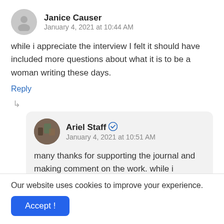Janice Causer
January 4, 2021 at 10:44 AM
while i appreciate the interview I felt it should have included more questions about what it is to be a woman writing these days.
Reply
Ariel Staff ✓
January 4, 2021 at 10:51 AM
many thanks for supporting the journal and making comment on the work. while i appreciate your viewpoint I make it a point to avoid political forays that are not
Our website uses cookies to improve your experience.
Accept !